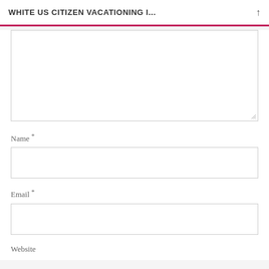WHITE US CITIZEN VACATIONING I...
Name *
Email *
Website